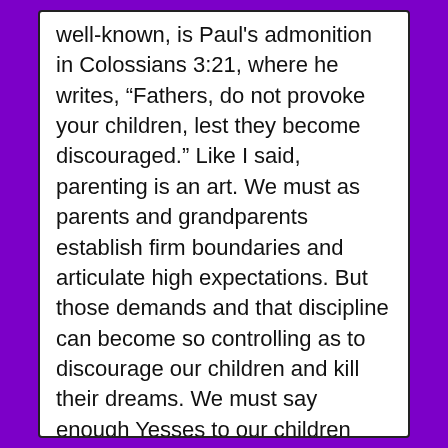well-known, is Paul's admonition in Colossians 3:21, where he writes, “Fathers, do not provoke your children, lest they become discouraged.” Like I said, parenting is an art. We must as parents and grandparents establish firm boundaries and articulate high expectations. But those demands and that discipline can become so controlling as to discourage our children and kill their dreams. We must say enough Yesses to our children that we encourage them in their ambitions. Dave Simmons, a Georgia Bulldog and former cornerback for the Dallas Cowboys, wrote some years ago